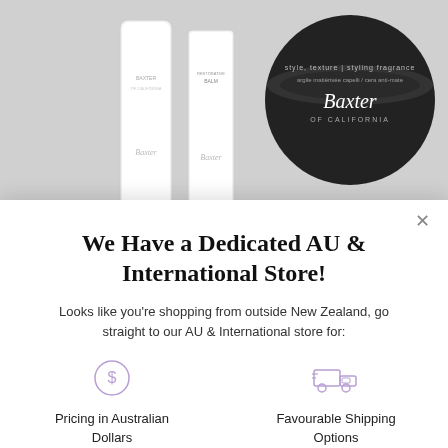[Figure (photo): Product photo showing Baxter of California grooming products: two white tubes/bottles on the left and a black round tin/jar on the right, on a grey background]
We Have a Dedicated AU & International Store!
Looks like you're shopping from outside New Zealand, go straight to our AU & International store for:
[Figure (illustration): Purple circle icon with dollar sign symbol representing pricing in Australian Dollars]
Pricing in Australian Dollars
[Figure (illustration): Purple delivery truck icon representing Favourable Shipping Options]
Favourable Shipping Options
[Figure (illustration): Purple circle icon with percentage/perks symbol representing Tailored Perks]
Tailored Perks